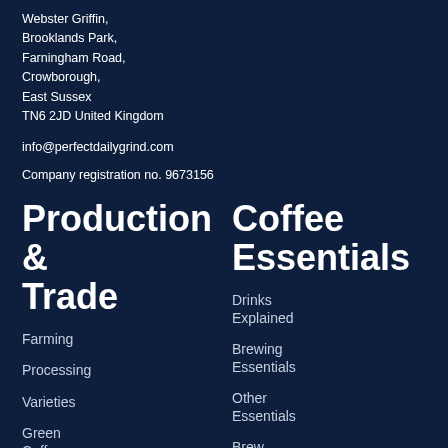Webster Griffin,
Brooklands Park,
Farningham Road,
Crowborough,
East Sussex
TN6 2JD United Kingdom
info@perfectdailygrind.com
Company registration no. 9673156
Production & Trade
Farming
Processing
Varieties
Green Coffee Storage
Importing & Exporting
Coffee Essentials
Drinks Explained
Brewing Essentials
Other Essentials
Brew Guides & Recipes
Consumer